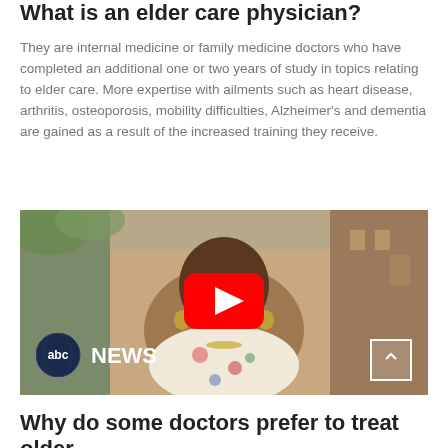What is an elder care physician?
They are internal medicine or family medicine doctors who have completed an additional one or two years of study in topics relating to elder care. More expertise with ailments such as heart disease, arthritis, osteoporosis, mobility difficulties, Alzheimer's and dementia are gained as a result of the increased training they receive.
[Figure (screenshot): An ABC News video thumbnail showing an elderly woman on a city street with a YouTube play button overlay and ABC News logo in the bottom left.]
Why do some doctors prefer to treat older